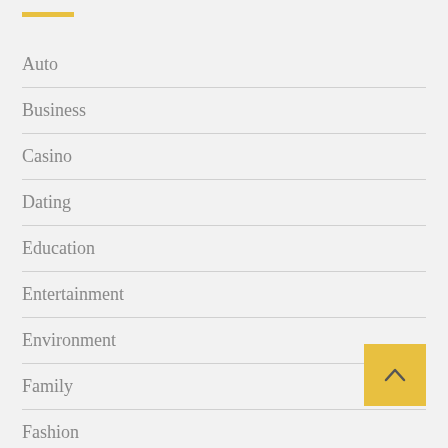Auto
Business
Casino
Dating
Education
Entertainment
Environment
Family
Fashion